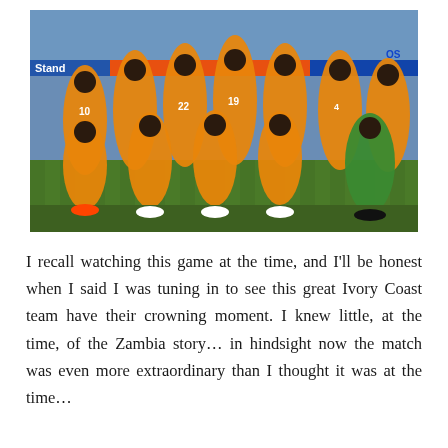[Figure (photo): Team photo of the Ivory Coast national football team in orange jerseys, posing in two rows on a football pitch in a stadium with a crowd in the background. One goalkeeper in green. Players numbered 10, 22, 19, 4 visible.]
I recall watching this game at the time, and I'll be honest when I said I was tuning in to see this great Ivory Coast team have their crowning moment. I knew little, at the time, of the Zambia story… in hindsight now the match was even more extraordinary than I thought it was at the time…